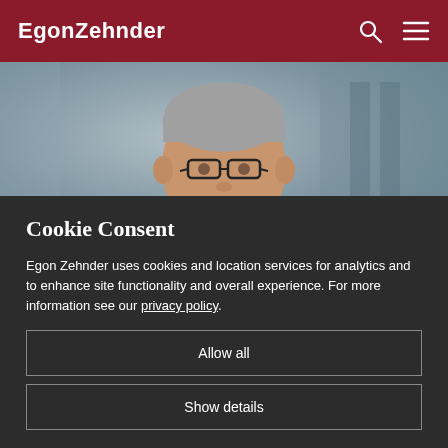EgonZehnder
[Figure (photo): Portrait photo of a middle-aged man with glasses wearing a blue striped shirt, photographed indoors]
Cookie Consent
Egon Zehnder uses cookies and location services for analytics and to enhance site functionality and overall experience. For more information see our privacy policy.
Allow all
Show details